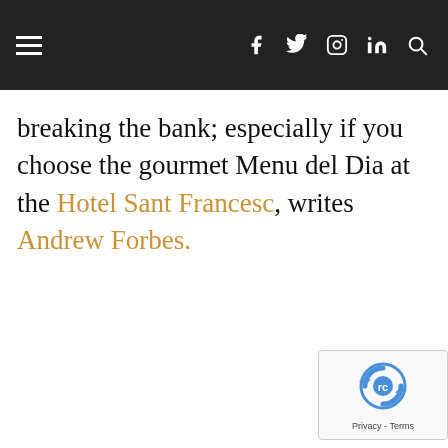Navigation bar with hamburger menu and social icons (f, twitter, instagram, in, search)
breaking the bank; especially if you choose the gourmet Menu del Dia at the Hotel Sant Francesc, writes Andrew Forbes.
[Figure (logo): reCAPTCHA badge with Privacy - Terms text]